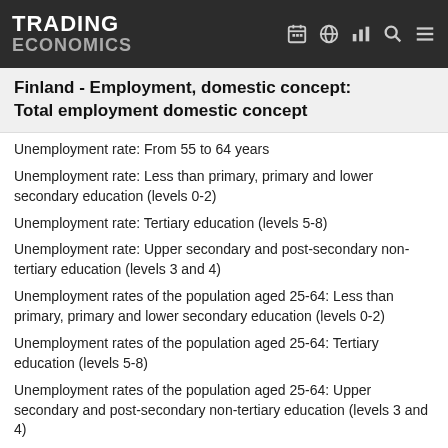TRADING ECONOMICS
Finland - Employment, domestic concept: Total employment domestic concept
Unemployment rate: From 55 to 64 years
Unemployment rate: Less than primary, primary and lower secondary education (levels 0-2)
Unemployment rate: Tertiary education (levels 5-8)
Unemployment rate: Upper secondary and post-secondary non-tertiary education (levels 3 and 4)
Unemployment rates of the population aged 25-64: Less than primary, primary and lower secondary education (levels 0-2)
Unemployment rates of the population aged 25-64: Tertiary education (levels 5-8)
Unemployment rates of the population aged 25-64: Upper secondary and post-secondary non-tertiary education (levels 3 and 4)
Unit labour cost performance related to the Euro area
Young people neither in employment nor in education and training: From 15 to 24 years